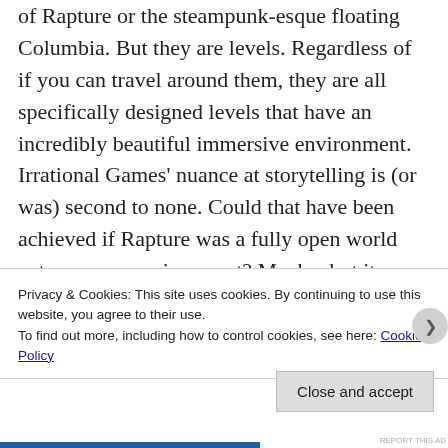of Rapture or the steampunk-esque floating Columbia. But they are levels. Regardless of if you can travel around them, they are all specifically designed levels that have an incredibly beautiful immersive environment. Irrational Games' nuance at storytelling is (or was) second to none. Could that have been achieved if Rapture was a fully open world autonomous environment? Maybe, but it wouldn't have been anywhere near as atmospheric.
Privacy & Cookies: This site uses cookies. By continuing to use this website, you agree to their use.
To find out more, including how to control cookies, see here: Cookie Policy
Close and accept